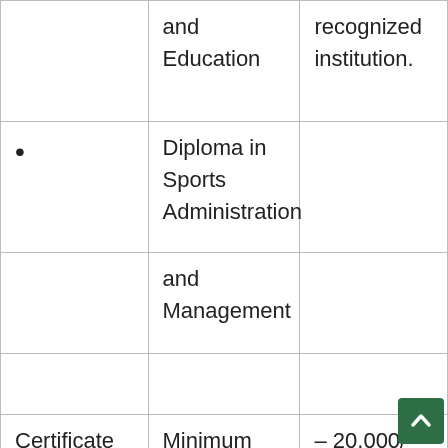|  | and Education | recognized institution. |
| • | Diploma in Sports Administration |  |
|  | and Management |  |
|  |  |  |
| Certificate in Community Health & | Minimum entry requirements for the certificate | – 20,000/= per semester |